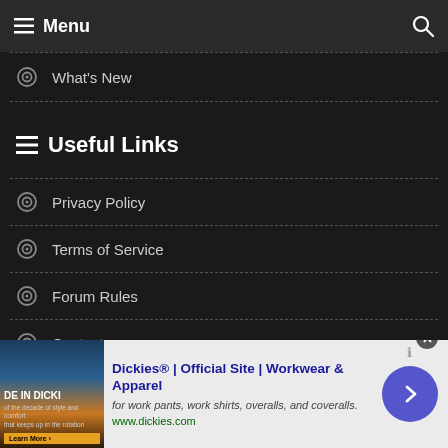Menu
What's New
Useful Links
Privacy Policy
Terms of Service
Forum Rules
Contact
[Figure (screenshot): Advertisement banner for Dickies workwear showing product image, title 'Dickies® | Official Site | Workwear & Apparel', description 'for work pants, work shirts, overalls, and coveralls.', URL 'www.dickies.com', and a blue arrow button]